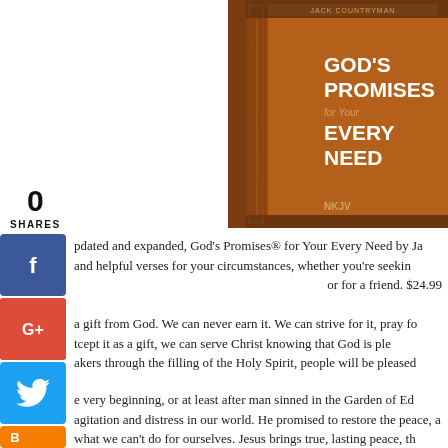[Figure (photo): Book cover of 'God's Promises for Your Every Need' by Jack Countryman, NKJV, brown leatherette cover with decorative pattern]
0
SHARES
pdated and expanded, God's Promises® for Your Every Need by Ja and helpful verses for your circumstances, whether you're seekin or for a friend. $24.99
a gift from God. We can never earn it. We can strive for it, pray fo tcept it as a gift, we can serve Christ knowing that God is ple akers through the filling of the Holy Spirit, people will be pleased
e very beginning, or at least after man sinned in the Garden of Ed agitation and distress in our world. He promised to restore the peace, a what we can't do for ourselves. Jesus brings true, lasting peace, th